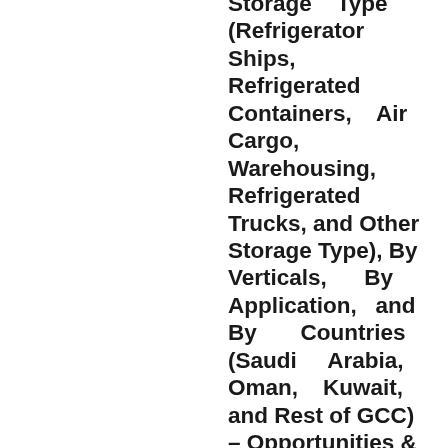Storage Type (Refrigerator Ships, Refrigerated Containers, Air Cargo, Warehousing, Refrigerated Trucks, and Other Storage Type), By Verticals, By Application, and By Countries (Saudi Arabia, Oman, Kuwait, and Rest of GCC) – Opportunities & Forecast, 2020-